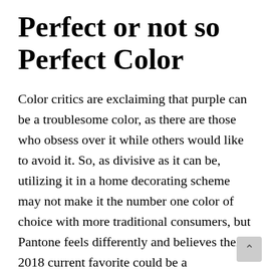Perfect or not so Perfect Color
Color critics are exclaiming that purple can be a troublesome color, as there are those who obsess over it while others would like to avoid it. So, as divisive as it can be, utilizing it in a home decorating scheme may not make it the number one color of choice with more traditional consumers, but Pantone feels differently and believes their 2018 current favorite could be a transformative one.
According to Pantone color experts, the us Ultra Violet can recharge a room in a num of different ways, and since purple hues relate